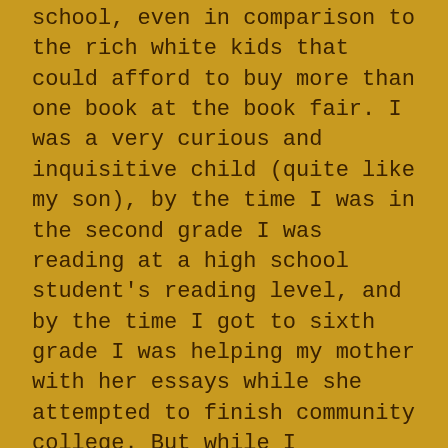school, even in comparison to the rich white kids that could afford to buy more than one book at the book fair. I was a very curious and inquisitive child (quite like my son), by the time I was in the second grade I was reading at a high school student's reading level, and by the time I got to sixth grade I was helping my mother with her essays while she attempted to finish community college. But while I flourished academically, emotionally and mentally I was a train wreck. My body had matured much quicker than any of the other girls in my class, and because of this, many of the parents saw me as a threat to the virginity and innocence of their precious little boys, as well as the overall piety of my classmates. In